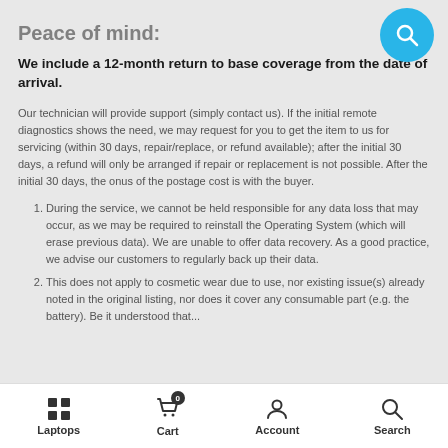Peace of mind:
We include a 12-month return to base coverage from the date of arrival.
Our technician will provide support (simply contact us). If the initial remote diagnostics shows the need, we may request for you to get the item to us for servicing (within 30 days, repair/replace, or refund available); after the initial 30 days, a refund will only be arranged if repair or replacement is not possible. After the initial 30 days, the onus of the postage cost is with the buyer.
During the service, we cannot be held responsible for any data loss that may occur, as we may be required to reinstall the Operating System (which will erase previous data). We are unable to offer data recovery. As a good practice, we advise our customers to regularly back up their data.
This does not apply to cosmetic wear due to use, nor existing issue(s) already noted in the original listing, nor does it cover any consumable part (e.g. the battery). Be it understood that...
Laptops   Cart   Account   Search